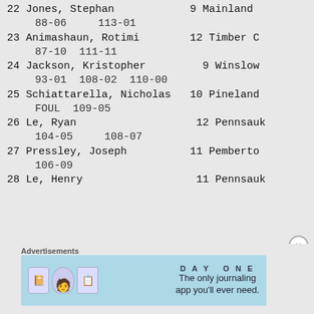22 Jones, Stephan   9 Mainland
   88-06    113-01
23 Animashaun, Rotimi   12 Timber C
   87-10  111-11
24 Jackson, Kristopher   9 Winslow
   93-01  108-02  110-00
25 Schiattarella, Nicholas   10 Pineland
   FOUL  109-05
26 Le, Ryan   12 Pennsauk
   104-05    108-07
27 Pressley, Joseph   11 Pemberto
   106-09
28 Le, Henry   11 Pennsauk
Advertisements
[Figure (illustration): Day One journaling app advertisement banner with blue background, app icons, and tagline: The only journaling app you'll ever need.]